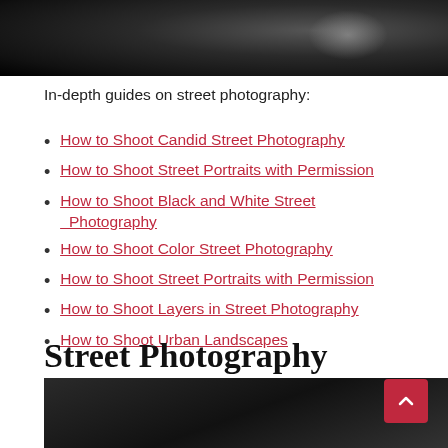[Figure (photo): Black and white street photography image at the top of the page]
In-depth guides on street photography:
How to Shoot Candid Street Photography
How to Shoot Street Portraits with Permission
How to Shoot Black and White Street Photography
How to Shoot Color Street Photography
How to Shoot Street Portraits with Permission
How to Shoot Layers in Street Photography
How to Shoot Urban Landscapes
Street Photography Equipment
[Figure (photo): Black and white street photography image at the bottom of the page showing what appears to be a camera or lens]